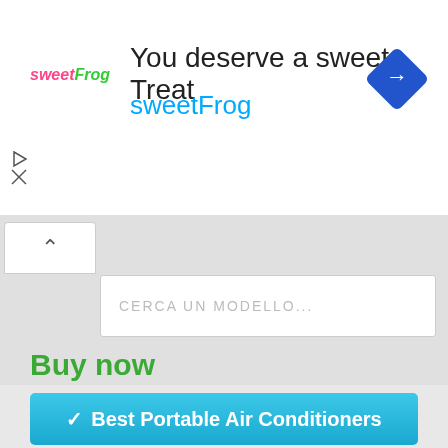[Figure (screenshot): SweetFrog advertisement banner with logo, headline 'You deserve a sweet Treat', brand name 'sweetFrog', navigation arrow icon, play and close icons]
CERCA UN MODELLO...
Buy now
✓ Best Portable Air Conditioners